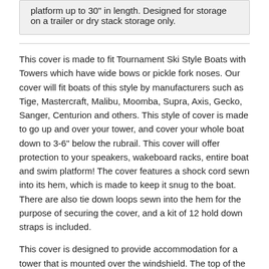platform up to 30" in length. Designed for storage on a trailer or dry stack storage only.
This cover is made to fit Tournament Ski Style Boats with Towers which have wide bows or pickle fork noses. Our cover will fit boats of this style by manufacturers such as Tige, Mastercraft, Malibu, Moomba, Supra, Axis, Gecko, Sanger, Centurion and others. This style of cover is made to go up and over your tower, and cover your whole boat down to 3-6" below the rubrail. This cover will offer protection to your speakers, wakeboard racks, entire boat and swim platform! The cover features a shock cord sewn into its hem, which is made to keep it snug to the boat. There are also tie down loops sewn into the hem for the purpose of securing the cover, and a kit of 12 hold down straps is included.
This cover is designed to provide accommodation for a tower that is mounted over the windshield. The top of the